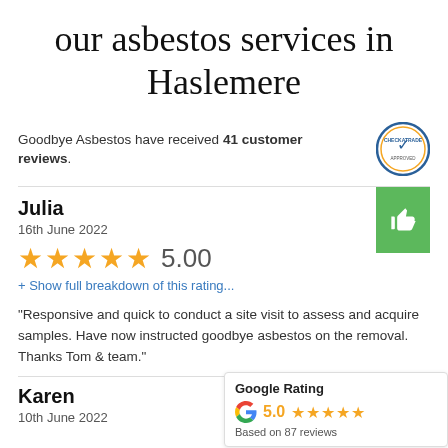our asbestos services in Haslemere
Goodbye Asbestos have received 41 customer reviews.
Julia
16th June 2022
★★★★★ 5.00
+ Show full breakdown of this rating...
"Responsive and quick to conduct a site visit to assess and acquire samples. Have now instructed goodbye asbestos on the removal. Thanks Tom & team."
Karen
10th June 2022
Google Rating
5.0 ★★★★★
Based on 87 reviews